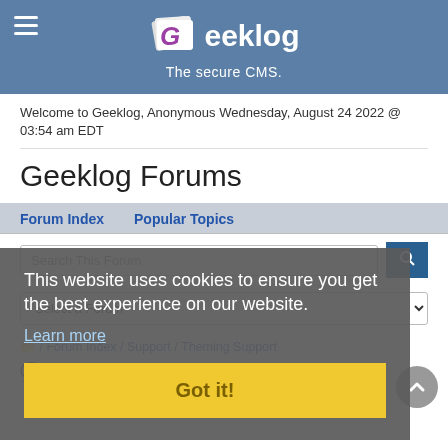[Figure (screenshot): Geeklog CMS website header with logo, hamburger menu icon, and tagline 'The secure CMS.']
Welcome to Geeklog, Anonymous Wednesday, August 24 2022 @ 03:54 am EDT
Geeklog Forums
Forum Index   Popular Topics
This website uses cookies to ensure you get the best experience on our website.
Learn more
Got it!
/ Forum Index / Support / Theming Support
NexTide NexPro Theme problems